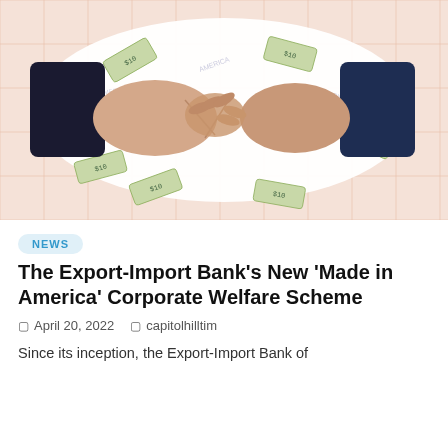[Figure (photo): Two people shaking hands in front of scattered dollar bills, left person wearing a dark navy/black sleeve and right person wearing a dark blue sleeve, set against a white cloud-like shape on a peach grid background]
NEWS
The Export-Import Bank's New 'Made in America' Corporate Welfare Scheme
April 20, 2022    capitolhilltim
Since its inception, the Export-Import Bank of America has made it its mission to...